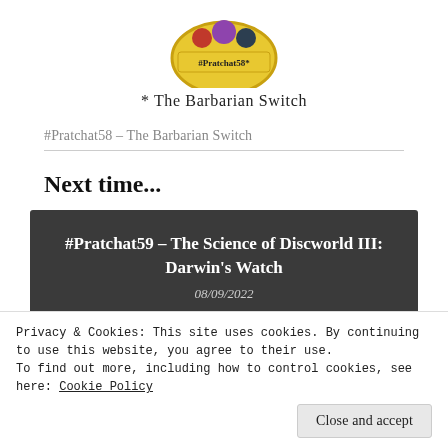[Figure (illustration): Circular podcast logo showing cartoon characters with a yellow banner reading #Pratchat58*]
* The Barbarian Switch
#Pratchat58 – The Barbarian Switch
Next time...
#Pratchat59 – The Science of Discworld III: Darwin's Watch
08/09/2022
Privacy & Cookies: This site uses cookies. By continuing to use this website, you agree to their use.
To find out more, including how to control cookies, see here: Cookie Policy
Close and accept